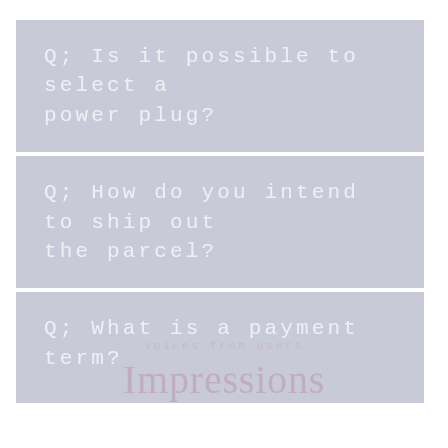Q; Is it possible to select a power plug?
Q; How do you intend to ship out the parcel?
Q; What is a payment term?
voices from users
Impressions